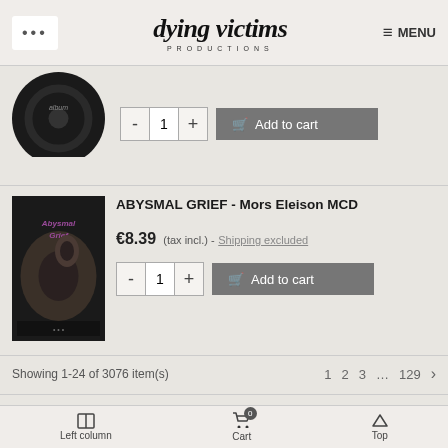... dying victims PRODUCTIONS MENU
[Figure (photo): Cropped circular product image at top left, dark album cover]
- 1 + Add to cart
[Figure (photo): Album cover for ABYSMAL GRIEF - Mors Eleison MCD, dark sepia-toned image with band logo in purple]
ABYSMAL GRIEF - Mors Eleison MCD
€8.39  (tax incl.) - Shipping excluded
- 1 + Add to cart
Showing 1-24 of 3076 item(s)
1  2  3  ...  129  >
SUPPORT
Left column   Cart  Top